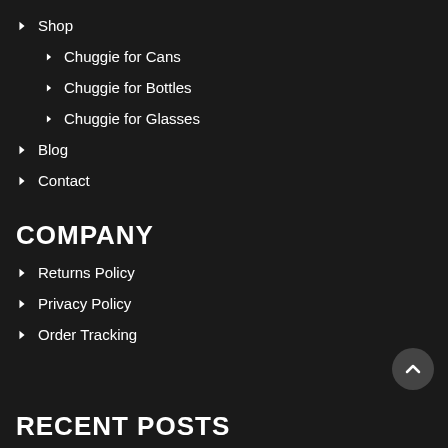Shop
Chuggie for Cans
Chuggie for Bottles
Chuggie for Glasses
Blog
Contact
COMPANY
Returns Policy
Privacy Policy
Order Tracking
RECENT POSTS